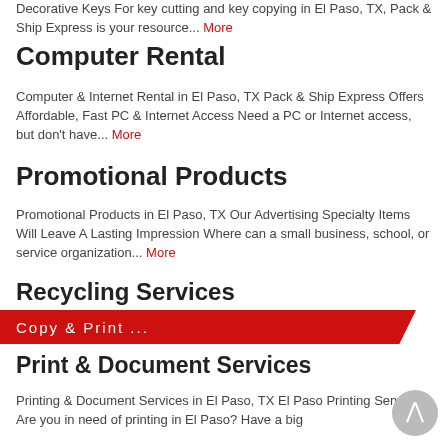Decorative Keys For key cutting and key copying in El Paso, TX, Pack & Ship Express is your resource... More
Computer Rental
Computer & Internet Rental in El Paso, TX Pack & Ship Express Offers Affordable, Fast PC & Internet Access Need a PC or Internet access, but don't have... More
Promotional Products
Promotional Products in El Paso, TX Our Advertising Specialty Items Will Leave A Lasting Impression Where can a small business, school, or service organization... More
Recycling Services
Recycling Services in El Paso, TX Reduce. Reuse. Recycle at Pack & Ship Express The friendly team at Pack & Ship Express are big fans of the environment... More
Copy & Print ...
Print & Document Services
Printing & Document Services in El Paso, TX El Paso Printing Services Are you in need of printing in El Paso? Have a big